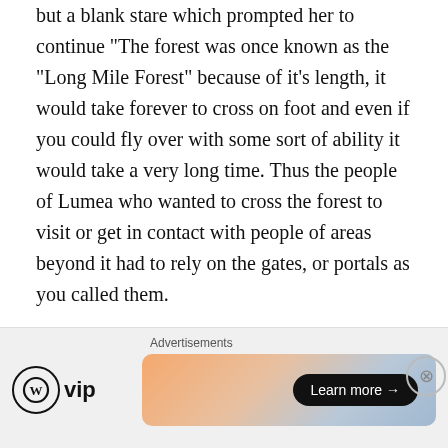After saying its name, Lyall got no reaction from Danh, but a blank stare which prompted her to continue "The forest was once known as the "Long Mile Forest" because of it's length, it would take forever to cross on foot and even if you could fly over with some sort of ability it would take a very long time. Thus the people of Lumea who wanted to cross the forest to visit or get in contact with people of areas beyond it had to rely on the gates, or portals as you called them.
Except long ago when the gates stopped being able to get in contact with anyone, we realized something had happened. Naturally this was over a hundred years ago as you well know. Eventually some people decided to make
[Figure (infographic): Advertisements bar at bottom with WordPress VIP logo on left and a colorful gradient banner ad with 'Learn more →' button on right. A close (X) button appears at top right of the ad area.]